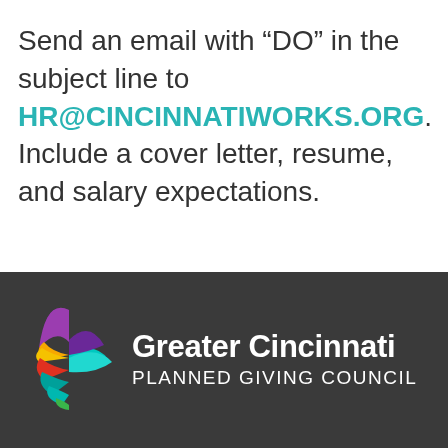Send an email with “DO” in the subject line to HR@CINCINNATIWORKS.ORG. Include a cover letter, resume, and salary expectations.
[Figure (logo): Greater Cincinnati Planned Giving Council logo with colorful pinwheel/flame icon on dark background]